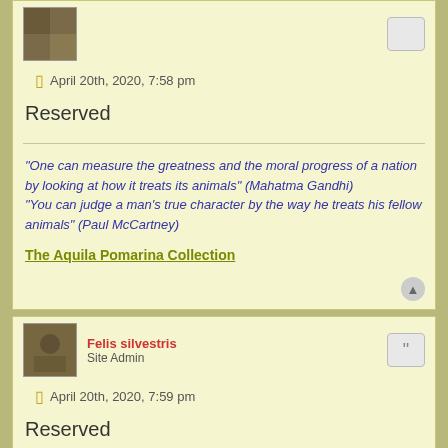April 20th, 2020, 7:58 pm
Reserved
"One can measure the greatness and the moral progress of a nation by looking at how it treats its animals" (Mahatma Gandhi) "You can judge a man's true character by the way he treats his fellow animals" (Paul McCartney)
The Aquila Pomarina Collection
Felis silvestris
Site Admin
April 20th, 2020, 7:59 pm
Reserved
"One can measure the greatness and the moral progress of a nation by looking at how it treats its animals" (Mahatma Gandhi)